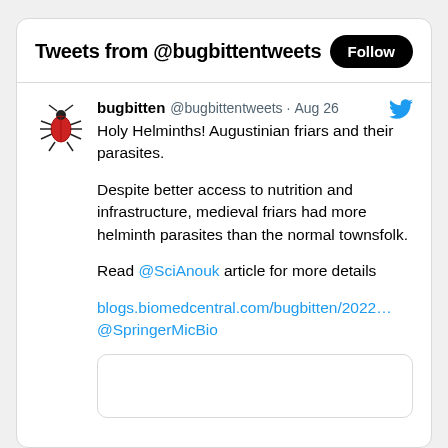Tweets from @bugbittentweets
bugbitten @bugbittentweets · Aug 26
Holy Helminths! Augustinian friars and their parasites.

Despite better access to nutrition and infrastructure, medieval friars had more helminth parasites than the normal townsfolk.

Read @SciAnouk article for more details

blogs.biomedcentral.com/bugbitten/2022…
@SpringerMicBio